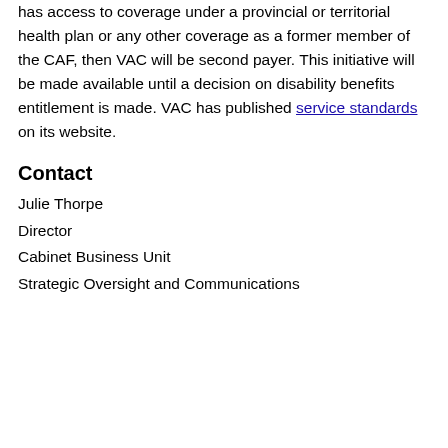has access to coverage under a provincial or territorial health plan or any other coverage as a former member of the CAF, then VAC will be second payer. This initiative will be made available until a decision on disability benefits entitlement is made. VAC has published service standards on its website.
Contact
Julie Thorpe
Director
Cabinet Business Unit
Strategic Oversight and Communications